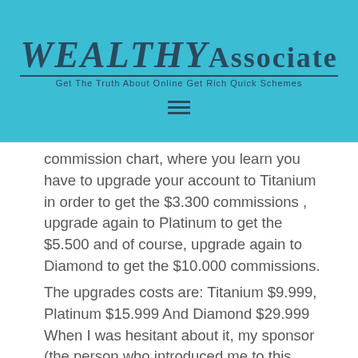WEALTHY Associate — Get The Truth About Online Get Rich Quick Schemes
commission chart, where you learn you have to upgrade your account to Titanium in order to get the $3.300 commissions , upgrade again to Platinum to get the $5.500 and of course, upgrade again to Diamond to get the $10.000 commissions.
The upgrades costs are: Titanium $9.999, Platinum $15.999 And Diamond $29.999 When I was hesitant about it, my sponsor (the person who introduced me to this program) told me the license can be purchased later, is not relevant. So I got in with the $49. After that, my coach told me if I don't get the license I'll waste my time and energy because is too